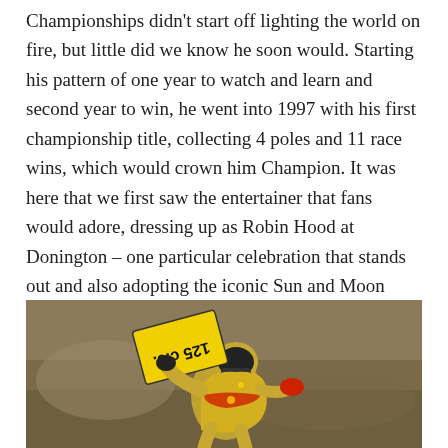Championships didn't start off lighting the world on fire, but little did we know he soon would. Starting his pattern of one year to watch and learn and second year to win, he went into 1997 with his first championship title, collecting 4 poles and 11 race wins, which would crown him Champion. It was here that we first saw the entertainer that fans would adore, dressing up as Robin Hood at Donington – one particular celebration that stands out and also adopting the iconic Sun and Moon design that he has carried with him through the years.
[Figure (photo): A motorcycle racer in yellow and black gear holding up a board showing '125 c.c.' celebrating a race win, with a blurred brownish background.]